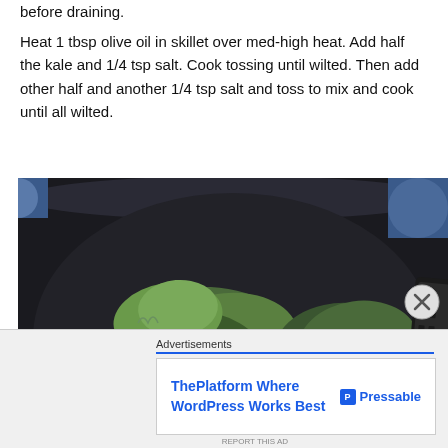before draining.
Heat 1 tbsp olive oil in skillet over med-high heat. Add half the kale and 1/4 tsp salt. Cook tossing until wilted. Then add other half and another 1/4 tsp salt and toss to mix and cook until all wilted.
[Figure (photo): Kale leaves being cooked/wilted in a dark skillet/pan, viewed from above]
Advertisements
[Figure (other): Advertisement banner: ThePlatform Where WordPress Works Best — Pressable]